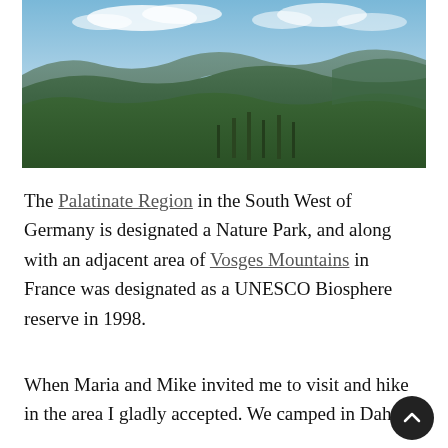[Figure (photo): Panoramic landscape photo of the Palatinate Region showing forested hills, tree-covered mountains, a glimpse of water/lake in the distance, and a partly cloudy blue sky.]
The Palatinate Region in the South West of Germany is designated a Nature Park, and along with an adjacent area of Vosges Mountains in France was designated as a UNESCO Biosphere reserve in 1998.
When Maria and Mike invited me to visit and hike in the area I gladly accepted. We camped in Dahn